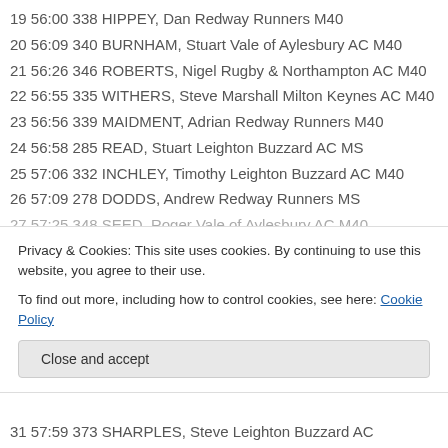19 56:00 338 HIPPEY, Dan Redway Runners M40
20 56:09 340 BURNHAM, Stuart Vale of Aylesbury AC M40
21 56:26 346 ROBERTS, Nigel Rugby & Northampton AC M40
22 56:55 335 WITHERS, Steve Marshall Milton Keynes AC M40
23 56:56 339 MAIDMENT, Adrian Redway Runners M40
24 56:58 285 READ, Stuart Leighton Buzzard AC MS
25 57:06 332 INCHLEY, Timothy Leighton Buzzard AC M40
26 57:09 278 DODDS, Andrew Redway Runners MS
27 57:25 348 SEED, Roger Vale of Aylesbury AC M40
Privacy & Cookies: This site uses cookies. By continuing to use this website, you agree to their use. To find out more, including how to control cookies, see here: Cookie Policy
31 57:59 373 SHARPLES, Steve Leighton Buzzard AC